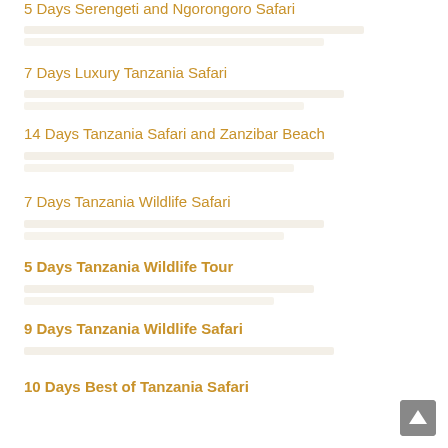5 Days Serengeti and Ngorongoro Safari
7 Days Luxury Tanzania Safari
14 Days Tanzania Safari and Zanzibar Beach
7 Days Tanzania Wildlife Safari
5 Days Tanzania Wildlife Tour
9 Days Tanzania Wildlife Safari
10 Days Best of Tanzania Safari